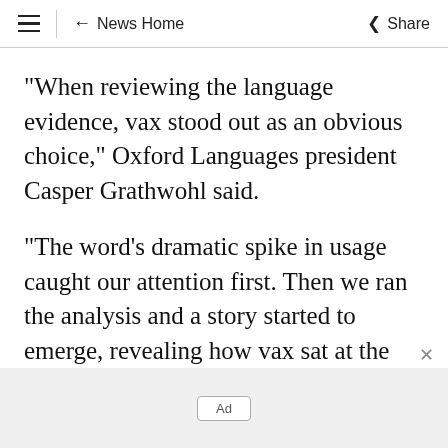≡ ← News Home Share
"When reviewing the language evidence, vax stood out as an obvious choice," Oxford Languages president Casper Grathwohl said.
"The word's dramatic spike in usage caught our attention first. Then we ran the analysis and a story started to emerge, revealing how vax sat at the centre of our preoccupations this year.
Ad